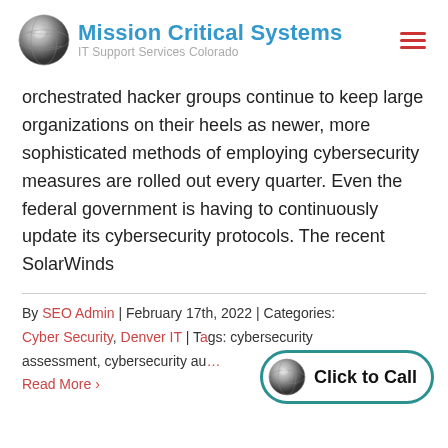Mission Critical Systems IT Support Services Colorado
orchestrated hacker groups continue to keep large organizations on their heels as newer, more sophisticated methods of employing cybersecurity measures are rolled out every quarter. Even the federal government is having to continuously update its cybersecurity protocols. The recent SolarWinds
By SEO Admin | February 17th, 2022 | Categories: Cyber Security, Denver IT | Tags: cybersecurity assessment, cybersecurity au...
Read More >
[Figure (logo): Click to Call button with globe logo]